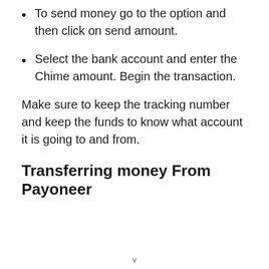To send money go to the option and then click on send amount.
Select the bank account and enter the Chime amount. Begin the transaction.
Make sure to keep the tracking number and keep the funds to know what account it is going to and from.
Transferring money From Payoneer
v